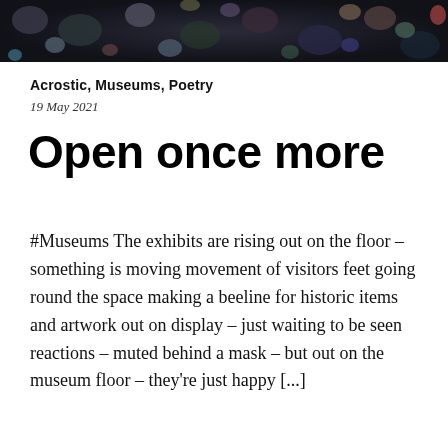[Figure (photo): Dark abstract colorful mosaic/bokeh image at the top of the page]
Acrostic, Museums, Poetry
19 May 2021
Open once more
#Museums The exhibits are rising out on the floor – something is moving movement of visitors feet going round the space making a beeline for historic items and artwork out on display – just waiting to be seen reactions – muted behind a mask – but out on the museum floor – they're just happy [...]